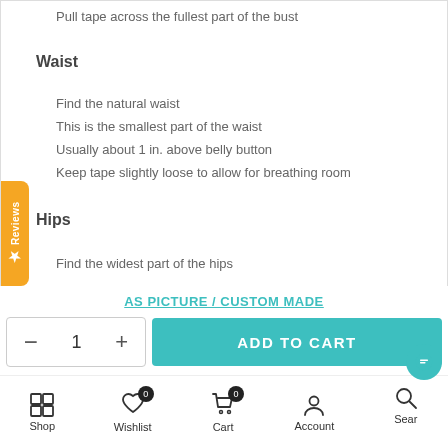Pull tape across the fullest part of the bust
Waist
Find the natural waist
This is the smallest part of the waist
Usually about 1 in. above belly button
Keep tape slightly loose to allow for breathing room
Hips
Find the widest part of the hips
AS PICTURE / CUSTOM MADE
- 1 +   ADD TO CART
Shop  Wishlist 0  Cart 0  Account  Search